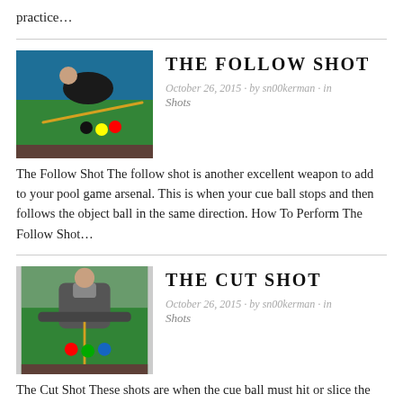practice…
THE FOLLOW SHOT
October 26, 2015 · by sn00kerman · in Shots
[Figure (photo): A snooker player leaning over a green table to take a shot, viewed from the side.]
The Follow Shot The follow shot is another excellent weapon to add to your pool game arsenal. This is when your cue ball stops and then follows the object ball in the same direction. How To Perform The Follow Shot…
THE CUT SHOT
October 26, 2015 · by sn00kerman · in Shots
[Figure (photo): A snooker player leaning over a green table to take a shot, viewed from the front.]
The Cut Shot These shots are when the cue ball must hit or slice the object ball at a specific angle. They are probably one of the most